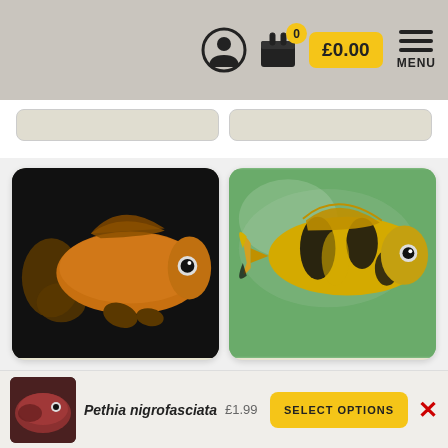£0.00 MENU
[Figure (photo): Product card image: Pethia conchonius Longfin Gold fish on black background]
Pethia conchonius «Longfin Gold»
£1.70
Barbs
[Figure (photo): Product card image: Pethia gelius fish on green background]
Pethia gelius
£2.00
Barbs
[Figure (photo): Thumbnail: Pethia nigrofasciata dark fish]
Pethia nigrofasciata  £1.99
SELECT OPTIONS